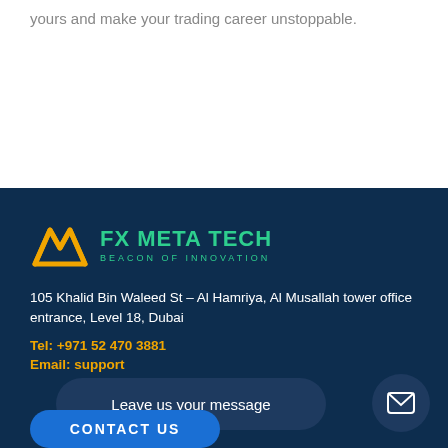yours and make your trading career unstoppable.
[Figure (logo): FX Meta Tech logo with orange M symbol and green text 'FX META TECH' and subtitle 'BEACON OF INNOVATION']
105 Khalid Bin Waleed St – Al Hamriya, Al Musallah tower office entrance, Level 18, Dubai
Tel: +971 52 470 3881
Email: support
Leave us your message
CONTACT US